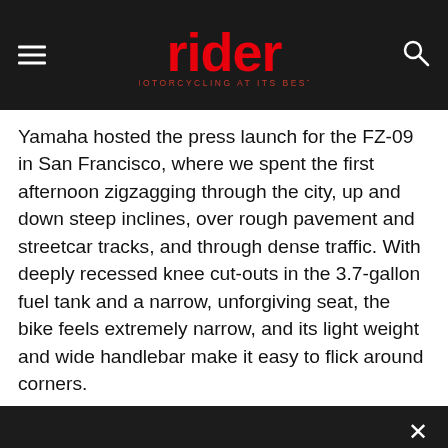rider MOTORCYCLING AT ITS BEST
Yamaha hosted the press launch for the FZ-09 in San Francisco, where we spent the first afternoon zigzagging through the city, up and down steep inclines, over rough pavement and streetcar tracks, and through dense traffic. With deeply recessed knee cut-outs in the 3.7-gallon fuel tank and a narrow, unforgiving seat, the bike feels extremely narrow, and its light weight and wide handlebar make it easy to flick around corners.
[Figure (screenshot): Dark overlay privacy consent dialog with 'Privacy Preferences' link, 'I Agree' button, and a close X button, overlaid on a motorcycle photo background.]